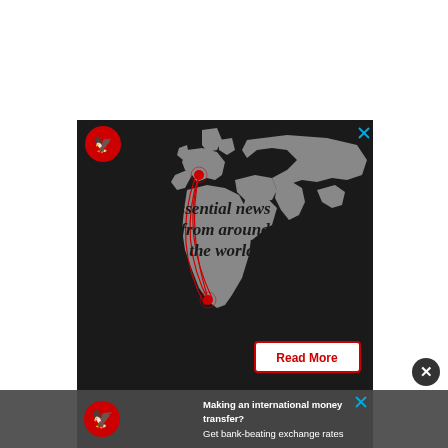[Figure (infographic): Advertisement banner for The Independent newspaper. Dark background with greyscale world map showing red curved lines connecting South Africa to Europe. Eagle logo (red circle with white eagle) top left. Text reads 'Essential news from around the world'. Red-bordered 'Read More' button bottom right. Blue X close button top right.]
[Figure (infographic): Bottom banner ad for The Independent. Dark grey background. Red circle eagle logo on left. Text: 'Making an international money transfer? Get bank-beating exchange rates'. Blue X close button top right of banner.]